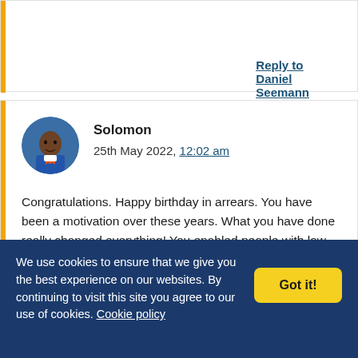Reply to Daniel Seemann
Solomon
25th May 2022, 12:02 am
Congratulations. Happy birthday in arrears. You have been a motivation over these years. What you have done really changed everything! You enabled people with low income to get a working computer. You gave Linux a new showplace. A big thanks to
We use cookies to ensure that we give you the best experience on our websites. By continuing to visit this site you agree to our use of cookies. Cookie policy